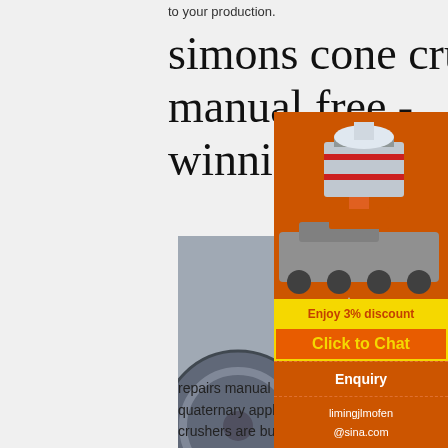to your production.
simons cone crusher manual free - winnicapoznan.pl
simons cone crusher manual free
[Figure (photo): Yellow jaw crusher machine photographed in an industrial setting with blue base supports and a large flywheel]
symons c
repairs manual Free Textbook PDF HP Series Crushers. performance in secondary, tertiary, quaternary applications. A history of quality. H crushers are built on the success of our 70+ y Symons cone expe
[Figure (photo): Orange sidebar advertisement showing industrial crushing machinery images, a 3% discount offer, Click to Chat button, Enquiry section, and limingjlmofen@sina.com contact email]